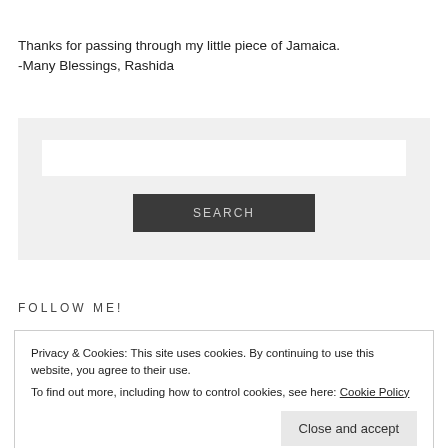Thanks for passing through my little piece of Jamaica.
-Many Blessings, Rashida
[Figure (screenshot): Search widget with text input and SEARCH button on gray background]
FOLLOW ME!
Privacy & Cookies: This site uses cookies. By continuing to use this website, you agree to their use.
To find out more, including how to control cookies, see here: Cookie Policy
Close and accept